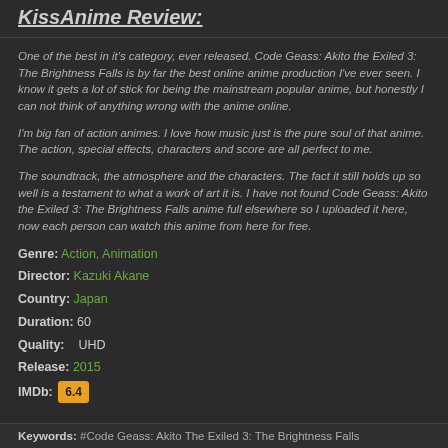KissAnime Review:
One of the best in it's category, ever released. Code Geass: Akito the Exiled 3: The Brightness Falls is by far the best online anime production I've ever seen. I know it gets a lot of stick for being the mainstream popular anime, but honestly I can not think of anything wrong with the anime online.
I'm big fan of action animes. I love how music just is the pure soul of that anime. The action, special effects, characters and score are all perfect to me.
The soundtrack, the atmosphere and the characters. The fact it still holds up so well is a testament to what a work of art it is. I have not found Code Geass: Akito the Exiled 3: The Brightness Falls anime full elsewhere so I uploaded it here, now each person can watch this anime from here for free.
Genre: Action, Animation
Director: Kazuki Akane
Country: Japan
Duration: 60
Quality: UHD
Release: 2015
IMDb: 6.4
Keywords: #Code Geass: Akito The Exiled 3: The Brightness Falls